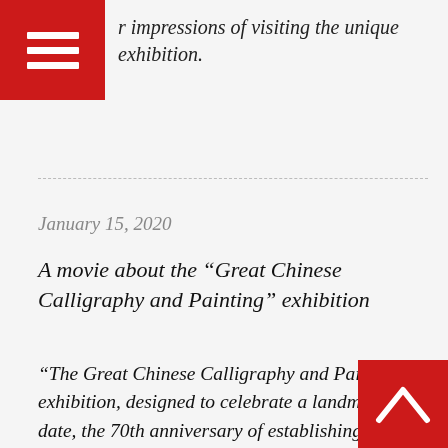r impressions of visiting the unique exhibition.
January 15, 2020
A movie about the “Great Chinese Calligraphy and Painting” exhibition
“The Great Chinese Calligraphy and Painting” exhibition, designed to celebrate a landmark date, the 70th anniversary of establishing diplomatic ties between the Russian Federation and the People’s Republic of China. The event gathered more than 400 masterpieces by renowned artists from various